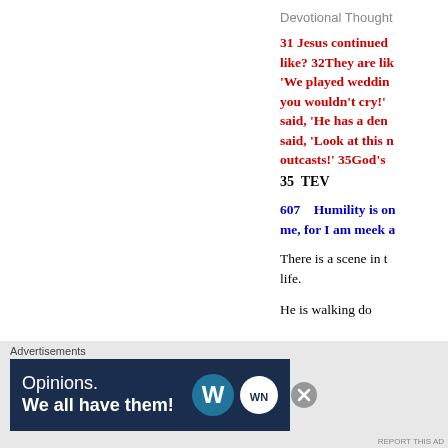Devotional Thought
31 Jesus continued... like? 32They are lik... 'We played weddin... you wouldn't cry!' ... said, 'He has a dem... said, 'Look at this m... outcasts!' 35God's...
35  TEV
607    Humility is on... me, for I am meek a...
There is a scene in t... life.
He is walking do...
Advertisements
[Figure (screenshot): WordPress Opinions advertisement banner: dark navy background with text 'Opinions. We all have them!' and WordPress and WordNerd logos]